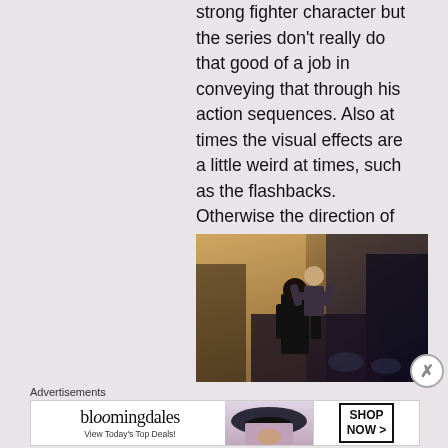strong fighter character but the series don't really do that good of a job in conveying that through his action sequences. Also at times the visual effects are a little weird at times, such as the flashbacks. Otherwise the direction of the episodes was overall fine I guess.
[Figure (photo): Action scene showing two people fighting, one jumping on the other's back, in what appears to be an outdoor courtyard setting]
Advertisements
[Figure (screenshot): Bloomingdale's advertisement banner: 'bloomingdales - View Today's Top Deals!' with a woman wearing a large hat, and a 'SHOP NOW >' button]